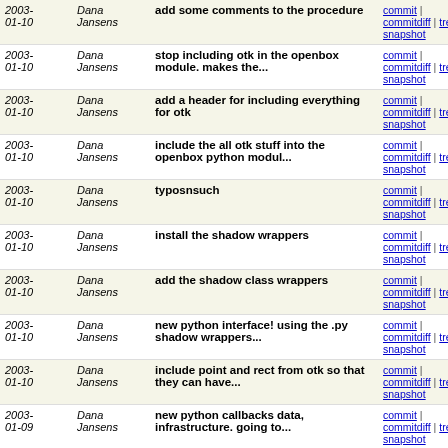| Date | Author | Message | Links |
| --- | --- | --- | --- |
| 2003-01-10 | Dana Jansens | add some comments to the procedure | commit | commitdiff | tree | snapshot |
| 2003-01-10 | Dana Jansens | stop including otk in the openbox module. makes the... | commit | commitdiff | tree | snapshot |
| 2003-01-10 | Dana Jansens | add a header for including everything for otk | commit | commitdiff | tree | snapshot |
| 2003-01-10 | Dana Jansens | include the all otk stuff into the openbox python modul... | commit | commitdiff | tree | snapshot |
| 2003-01-10 | Dana Jansens | typosnsuch | commit | commitdiff | tree | snapshot |
| 2003-01-10 | Dana Jansens | install the shadow wrappers | commit | commitdiff | tree | snapshot |
| 2003-01-10 | Dana Jansens | add the shadow class wrappers | commit | commitdiff | tree | snapshot |
| 2003-01-10 | Dana Jansens | new python interface! using the .py shadow wrappers... | commit | commitdiff | tree | snapshot |
| 2003-01-10 | Dana Jansens | include point and rect from otk so that they can have... | commit | commitdiff | tree | snapshot |
| 2003-01-09 | Dana Jansens | new python callbacks data, infrastructure. going to... | commit | commitdiff | tree | snapshot |
| 2003-01-09 | Dana Jansens | change what re-maprequest events do, just convert them... | commit | commitdiff | tree | snapshot |
| 2003-01-09 | Dana Jansens | s/False/false | commit | commitdiff | tree | snapshot |
| 2003-01-09 | Dana Jansens | use default prefix. | commit | commitdiff | tree | snapshot |
| 2003- | Dana | wrapper update... | commit |